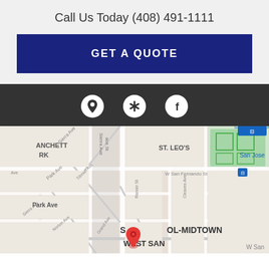Call Us Today (408) 491-1111
GET A QUOTE
[Figure (infographic): Three social/location icons (map pin, Yelp, Facebook) on a dark gray background]
[Figure (map): Google Maps screenshot showing San Jose area near ST. LEO'S neighborhood, ANCHETT RK, Park Ave, Sierra Ave, W San Fernando St, Tillman Ave, Norton Ave, Grand Ave, Rainier St, Cleaves Ave, with a red location pin marker in SCHOOL-MIDTOWN / WEST SAN area]